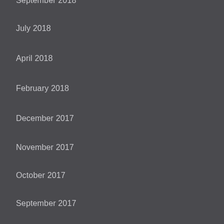September 2018
July 2018
April 2018
February 2018
December 2017
November 2017
October 2017
September 2017
August 2017
July 2017
June 2017